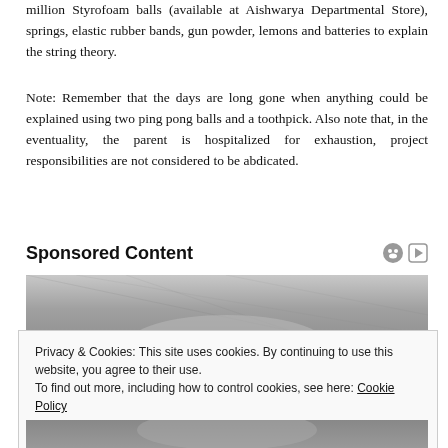million Styrofoam balls (available at Aishwarya Departmental Store), springs, elastic rubber bands, gun powder, lemons and batteries to explain the string theory.
Note: Remember that the days are long gone when anything could be explained using two ping pong balls and a toothpick. Also note that, in the eventuality, the parent is hospitalized for exhaustion, project responsibilities are not considered to be abdicated.
Sponsored Content
[Figure (photo): Black and white close-up photo of a person's face (upper portion), partially obscured by a cookie consent banner overlay.]
Privacy & Cookies: This site uses cookies. By continuing to use this website, you agree to their use.
To find out more, including how to control cookies, see here: Cookie Policy
[Figure (photo): Black and white close-up photo of a person's face (lower portion), visible below the cookie consent banner.]